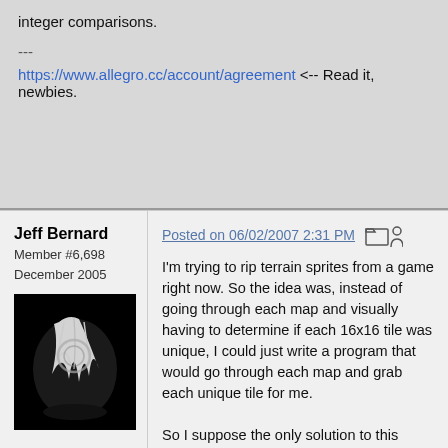integer comparisons.
---
https://www.allegro.cc/account/agreement <-- Read it, newbies.
Jeff Bernard
Member #6,698
December 2005
[Figure (photo): Avatar photo of Jeff Bernard - dark background with white feathery or cloth-like object]
Posted on 06/02/2007 2:31 PM
I'm trying to rip terrain sprites from a game right now. So the idea was, instead of going through each map and visually having to determine if each 16x16 tile was unique, I could just write a program that would go through each map and grab each unique tile for me.

So I suppose the only solution to this condition would be to go through and check each (or every other, every third, etc) pixel to determine if the BITMAP* objects are the same? Of course I would remove each duplication of a unique tile after having determined it's unique (in other words I wouldn't check every single tile against every single tile after the first run through checking).